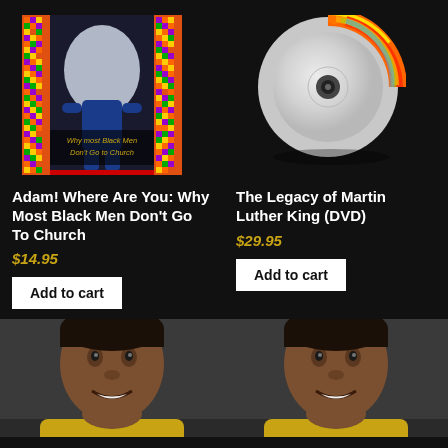[Figure (illustration): Book cover for 'Why most Black Men Don't Go to Church' featuring a blue humanoid figure against a colorful mosaic border]
[Figure (illustration): CD disc image with rainbow reflection on black background]
Adam! Where Are You: Why Most Black Men Don't Go To Church
$14.95
Add to cart
The Legacy of Martin Luther King (DVD)
$29.95
Add to cart
[Figure (photo): Photo of a man smiling, wearing yellow/gold clothing]
[Figure (photo): Photo of the same man smiling, wearing yellow/gold clothing]